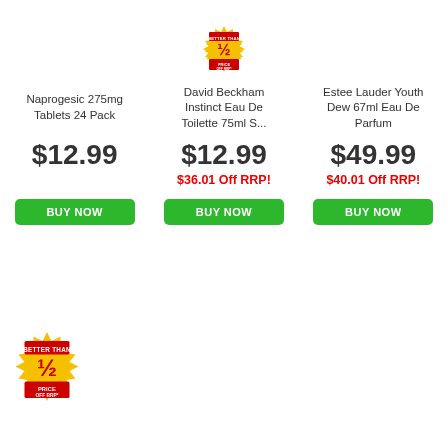Naprogesic 275mg Tablets 24 Pack
$12.99
BUY NOW
[Figure (infographic): Better Than 1/2 Price Off RRP starburst badge]
David Beckham Instinct Eau De Toilette 75ml S...
$12.99
$36.01 Off RRP!
BUY NOW
Estee Lauder Youth Dew 67ml Eau De Parfum
$49.99
$40.01 Off RRP!
BUY NOW
[Figure (infographic): Better Than 1/2 Price Off RRP starburst badge (bottom left)]